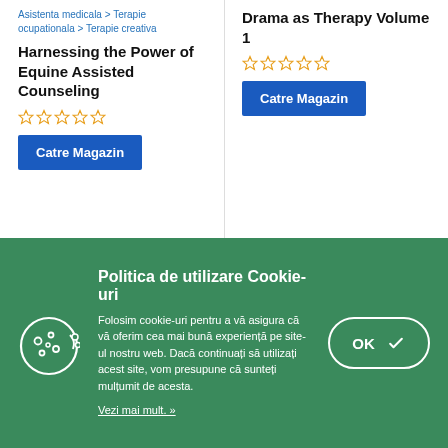Asistenta medicala > Terapie ocupationala > Terapie creativa
Harnessing the Power of Equine Assisted Counseling
[Figure (other): 5 empty star rating icons in blue/orange outline]
Catre Magazin
Drama as Therapy Volume 1
[Figure (other): 5 empty star rating icons in blue/orange outline]
Catre Magazin
[Figure (other): Two book cover placeholder images partially visible]
Politica de utilizare Cookie-uri
Folosim cookie-uri pentru a vă asigura că vă oferim cea mai bună experiență pe site-ul nostru web. Dacă continuați să utilizați acest site, vom presupune că sunteți mulțumit de acesta.
Vezi mai mult. »